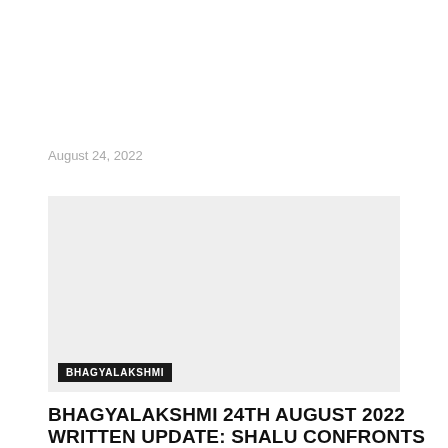August 24, 2022
[Figure (photo): A light gray placeholder image block with a dark label tag reading 'BHAGYALAKSHMI' in the bottom left corner.]
BHAGYALAKSHMI 24TH AUGUST 2022 WRITTEN UPDATE: SHALU CONFRONTS NEELAM AND